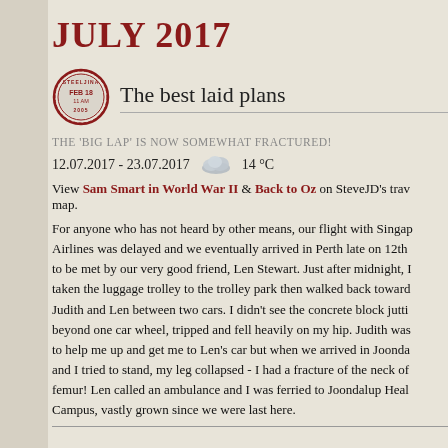JULY 2017
The best laid plans
THE 'BIG LAP' IS NOW SOMEWHAT FRACTURED!
12.07.2017 - 23.07.2017    14 °C
View Sam Smart in World War II & Back to Oz on SteveJD's travel map.
For anyone who has not heard by other means, our flight with Singapore Airlines was delayed and we eventually arrived in Perth late on 12th to be met by our very good friend, Len Stewart. Just after midnight, I taken the luggage trolley to the trolley park then walked back towards Judith and Len between two cars. I didn't see the concrete block jutting beyond one car wheel, tripped and fell heavily on my hip. Judith was to help me up and get me to Len's car but when we arrived in Joonda and I tried to stand, my leg collapsed - I had a fracture of the neck of femur! Len called an ambulance and I was ferried to Joondalup Health Campus, vastly grown since we were last here.